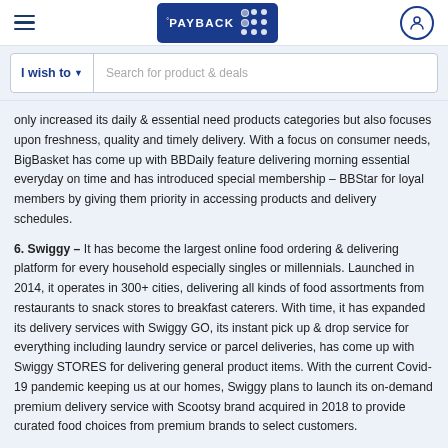PAYBACK - navigation bar with hamburger menu and user icon
I wish to ▾   Search for product & deals
only increased its daily & essential need products categories but also focuses upon freshness, quality and timely delivery. With a focus on consumer needs, BigBasket has come up with BBDaily feature delivering morning essential everyday on time and has introduced special membership – BBStar for loyal members by giving them priority in accessing products and delivery schedules.
6. Swiggy – It has become the largest online food ordering & delivering platform for every household especially singles or millennials. Launched in 2014, it operates in 300+ cities, delivering all kinds of food assortments from restaurants to snack stores to breakfast caterers. With time, it has expanded its delivery services with Swiggy GO, its instant pick up & drop service for everything including laundry service or parcel deliveries, has come up with Swiggy STORES for delivering general product items. With the current Covid-19 pandemic keeping us at our homes, Swiggy plans to launch its on-demand premium delivery service with Scootsy brand acquired in 2018 to provide curated food choices from premium brands to select customers.
These platforms have the widest range of product category assortments for